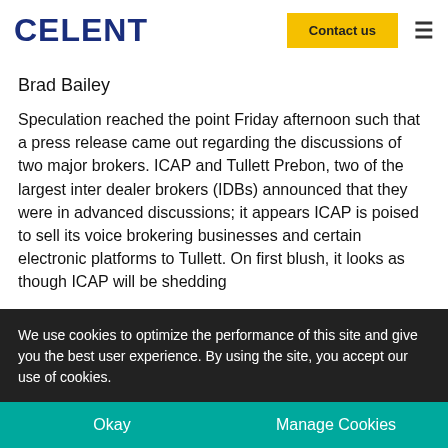CELENT | Contact us
Brad Bailey
Speculation reached the point Friday afternoon such that a press release came out regarding the discussions of two major brokers. ICAP and Tullett Prebon, two of the largest inter dealer brokers (IDBs) announced that they were in advanced discussions; it appears ICAP is poised to sell its voice brokering businesses and certain electronic platforms to Tullett. On first blush, it looks as though ICAP will be shedding
We use cookies to optimize the performance of this site and give you the best user experience. By using the site, you accept our use of cookies.
Okay
Manage Cookies